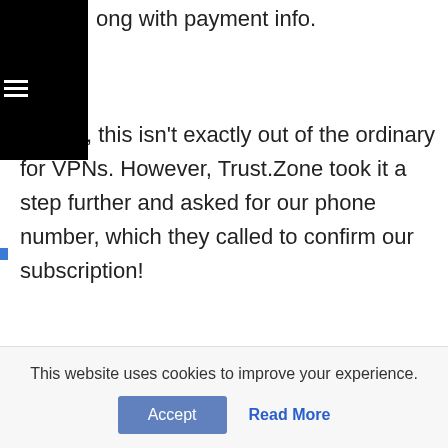ong with payment info.
course, this isn't exactly out of the ordinary for VPNs. However, Trust.Zone took it a step further and asked for our phone number, which they called to confirm our subscription!
Needless to say, we're not a fan of this at all. Especially when Trust.Zone's own site says they only require an email address.
Built-In Kill Switch
This website uses cookies to improve your experience.